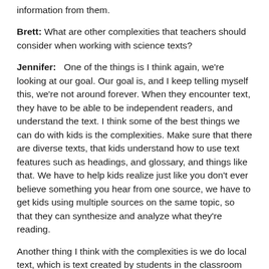information from them.
Brett: What are other complexities that teachers should consider when working with science texts?
Jennifer:   One of the things is I think again, we're looking at our goal. Our goal is, and I keep telling myself this, we're not around forever. When they encounter text, they have to be able to be independent readers, and understand the text. I think some of the best things we can do with kids is the complexities. Make sure that there are diverse texts, that kids understand how to use text features such as headings, and glossary, and things like that. We have to help kids realize just like you don't ever believe something you hear from one source, we have to get kids using multiple sources on the same topic, so that they can synthesize and analyze what they're reading.
Another thing I think with the complexities is we do local text, which is text created by students in the classroom